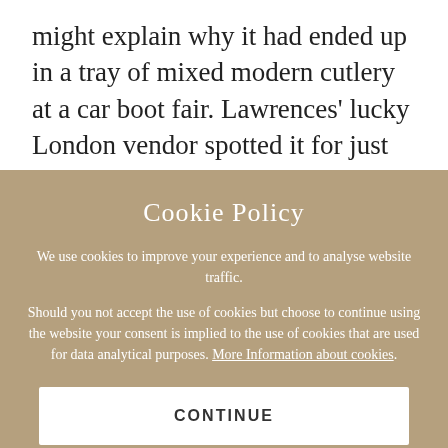might explain why it had ended up in a tray of mixed modern cutlery at a car boot fair. Lawrences' lucky London vendor spotted it for just 20p and his hunch was rewarded with a final price of £2375. The day's total exceeded £375,000
Cookie Policy
We use cookies to improve your experience and to analyse website traffic.
Should you not accept the use of cookies but choose to continue using the website your consent is implied to the use of cookies that are used for data analytical purposes. More Information about cookies.
CONTINUE